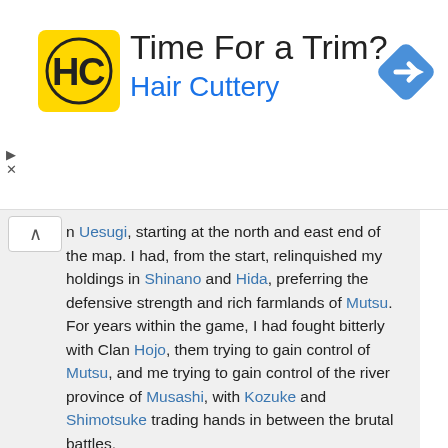[Figure (infographic): Hair Cuttery advertisement banner with yellow logo showing HC letters, headline 'Time For a Trim?' and blue subtitle 'Hair Cuttery', with a blue navigation/directions icon on the right.]
n Uesugi, starting at the north and east end of the map. I had, from the start, relinquished my holdings in Shinano and Hida, preferring the defensive strength and rich farmlands of Mutsu. For years within the game, I had fought bitterly with Clan Hojo, them trying to gain control of Mutsu, and me trying to gain control of the river province of Musashi, with Kozuke and Shimotsuke trading hands in between the brutal battles.

Our strategies were as different as could be. The Daimyo of
[Figure (screenshot): Collapse/expand button with upward caret (^) symbol on white background]